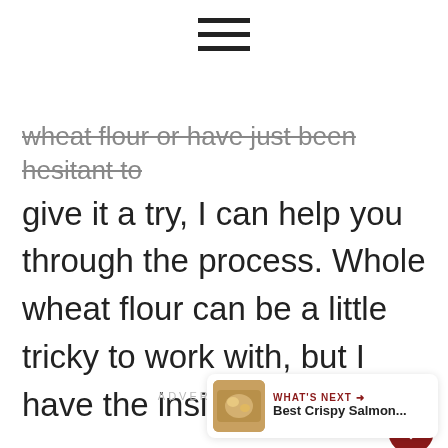[Figure (other): Hamburger menu icon (three horizontal lines)]
wheat flour or have just been hesitant to give it a try, I can help you through the process. Whole wheat flour can be a little tricky to work with, but I have the inside scoop.
ADVERTISEMENT
[Figure (infographic): Social media action buttons: heart/like button (dark red circle with heart icon), count badge showing '1', share button]
[Figure (infographic): What's Next promo card showing food image thumbnail and text 'WHAT'S NEXT → Best Crispy Salmon...']